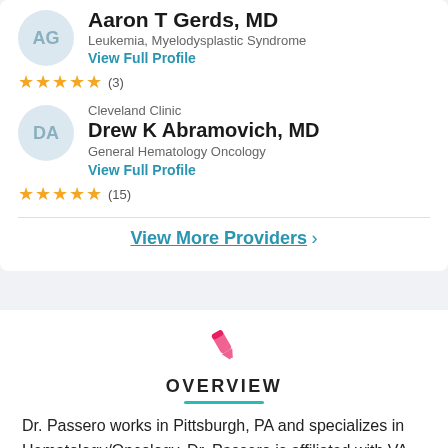[Figure (illustration): Avatar circle with initials AG for Aaron T Gerds]
Aaron T Gerds, MD
Leukemia, Myelodysplastic Syndrome
View Full Profile
★★★★★ (3)
[Figure (illustration): Avatar circle with initials DA for Drew K Abramovich]
Cleveland Clinic
Drew K Abramovich, MD
General Hematology Oncology
View Full Profile
★★★★★ (15)
View More Providers >
[Figure (illustration): Pink pen/writing icon above OVERVIEW heading]
OVERVIEW
Dr. Passero works in Pittsburgh, PA and specializes in Hematology/Oncology. Dr. Passero is affiliated with VA Pittsburgh Healthcare.